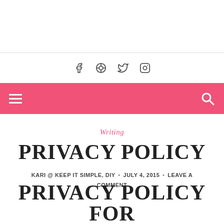f  ⊕  𝕥  ⌟  (social icons: Facebook, Pinterest, Twitter, Instagram)
≡  (hamburger menu)  🔍 (search icon) — pink navigation bar
Writing
PRIVACY POLICY
KARI @ KEEP IT SIMPLE, DIY • JULY 4, 2015 • LEAVE A COMMENT
PRIVACY POLICY FOR